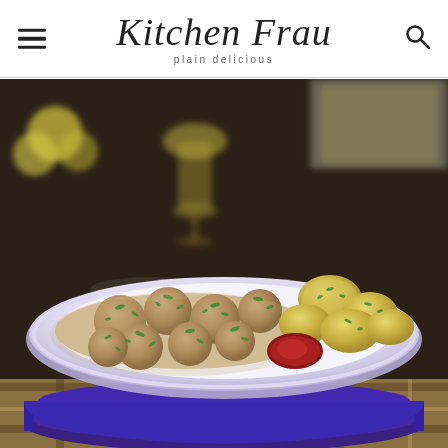Kitchen Frau — plain delicious
[Figure (photo): Food photography showing Swedish-style meatballs in creamy gravy with chopped parsley, served on a white plate with boiled potatoes and a spoonful of red cranberry/lingonberry jam. The plate sits on a stack of purple/cobalt blue dinner plates. Background shows a blurred glass of white wine and a cooking pan. The scene is set on a plaid tablecloth.]